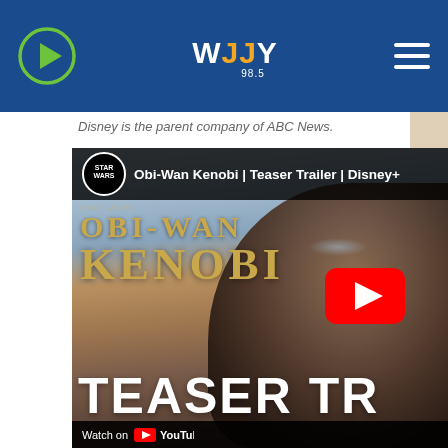WJJY radio station navigation bar with play button, WJJY logo, and hamburger menu
Disney is the parent company of ABC News.
[Figure (screenshot): YouTube embedded video thumbnail for 'Obi-Wan Kenobi | Teaser Trailer | Disney+' showing Star Wars logo, gold OBI-WAN KENOBI title text, a close-up of a bearded man's face, YouTube play button, TEASER TR text at bottom, and 'Watch on YouTube' bar.]